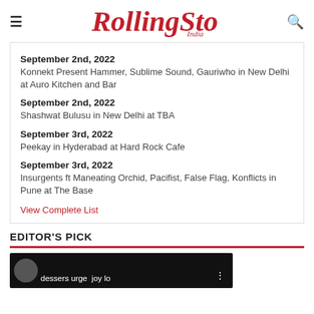Rolling Stone India
September 2nd, 2022
Konnekt Present Hammer, Sublime Sound, Gauriwho in New Delhi at Auro Kitchen and Bar
September 2nd, 2022
Shashwat Bulusu in New Delhi at TBA
September 3rd, 2022
Peekay in Hyderabad at Hard Rock Cafe
September 3rd, 2022
Insurgents ft Maneating Orchid, Pacifist, False Flag, Konflicts in Pune at The Base
View Complete List
EDITOR'S PICK
[Figure (photo): Thumbnail image strip for an editor's pick article with circular avatar and text 'desserts urge joy lo']